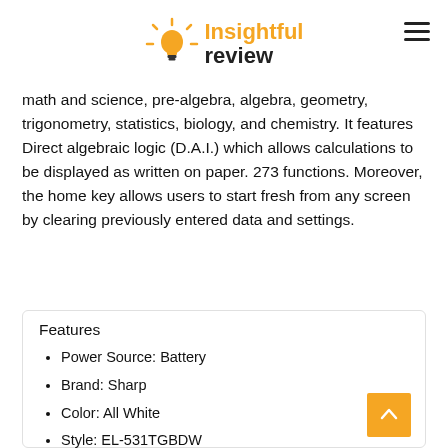Insightful review
math and science, pre-algebra, algebra, geometry, trigonometry, statistics, biology, and chemistry. It features Direct algebraic logic (D.A.I.) which allows calculations to be displayed as written on paper. 273 functions. Moreover, the home key allows users to start fresh from any screen by clearing previously entered data and settings.
Features
Power Source: Battery
Brand: Sharp
Color: All White
Style: EL-531TGBDW
Batteries: 1 LR44 batteries required. (included)